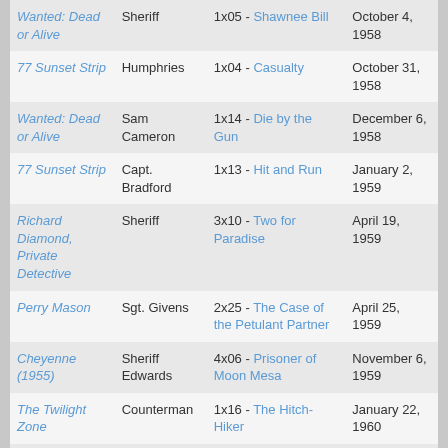| Show | Character | Episode | Air Date |
| --- | --- | --- | --- |
| Wanted: Dead or Alive | Sheriff | 1x05 - Shawnee Bill | October 4, 1958 |
| 77 Sunset Strip | Humphries | 1x04 - Casualty | October 31, 1958 |
| Wanted: Dead or Alive | Sam Cameron | 1x14 - Die by the Gun | December 6, 1958 |
| 77 Sunset Strip | Capt. Bradford | 1x13 - Hit and Run | January 2, 1959 |
| Richard Diamond, Private Detective | Sheriff | 3x10 - Two for Paradise | April 19, 1959 |
| Perry Mason | Sgt. Givens | 2x25 - The Case of the Petulant Partner | April 25, 1959 |
| Cheyenne (1955) | Sheriff Edwards | 4x06 - Prisoner of Moon Mesa | November 6, 1959 |
| The Twilight Zone | Counterman | 1x16 - The Hitch-Hiker | January 22, 1960 |
| 77 Sunset Strip | Chief Howard | 2x36 - Family Skeleton | June 10, 1960 |
| Thriller (1960) | Arresting Officer | 1x03 - Worse Than Murder | September 27, 1960 |
| Wanted: Dead or Alive | Sheriff T... |  | October 5... |